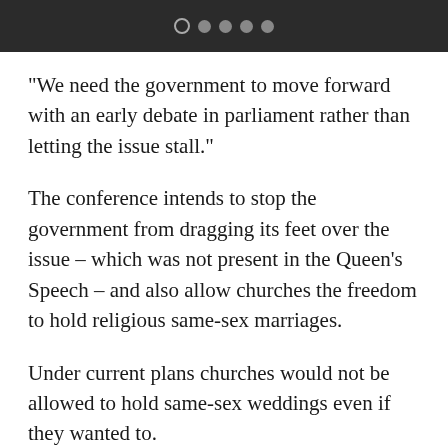• • • •
"We need the government to move forward with an early debate in parliament rather than letting the issue stall."
The conference intends to stop the government from dragging its feet over the issue – which was not present in the Queen's Speech – and also allow churches the freedom to hold religious same-sex marriages.
Under current plans churches would not be allowed to hold same-sex weddings even if they wanted to.